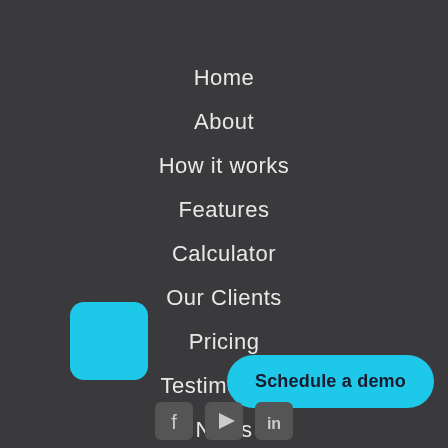Home
About
How it works
Features
Calculator
Our Clients
Pricing
Testimonials
News
[Figure (logo): Cyan/blue rounded square logo icon]
Schedule a demo
[Figure (other): Social media icons: Facebook, YouTube, LinkedIn]